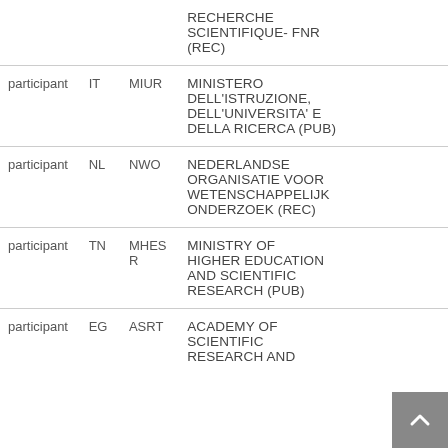| Role | Country | Short Name | Organization Name |
| --- | --- | --- | --- |
|  |  |  | RECHERCHE SCIENTIFIQUE- FNR (REC) |
| participant | IT | MIUR | MINISTERO DELL'ISTRUZIONE, DELL'UNIVERSITA' E DELLA RICERCA (PUB) |
| participant | NL | NWO | NEDERLANDSE ORGANISATIE VOOR WETENSCHAPPELIJK ONDERZOEK (REC) |
| participant | TN | MHESR | MINISTRY OF HIGHER EDUCATION AND SCIENTIFIC RESEARCH (PUB) |
| participant | EG | ASRT | ACADEMY OF SCIENTIFIC RESEARCH AND ... |